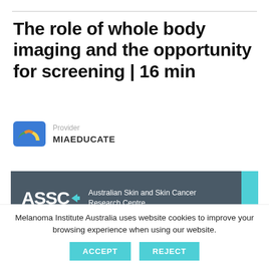The role of whole body imaging and the opportunity for screening | 16 min
[Figure (logo): MIAEDUCATE provider logo — rainbow arch icon with green, orange, yellow segments on blue background]
Provider
MIAEDUCATE
[Figure (logo): ASSC — Australian Skin and Skin Cancer Research Centre banner with dark blue-grey background and teal right stripe]
Melanoma Institute Australia uses website cookies to improve your browsing experience when using our website.
ACCEPT
REJECT